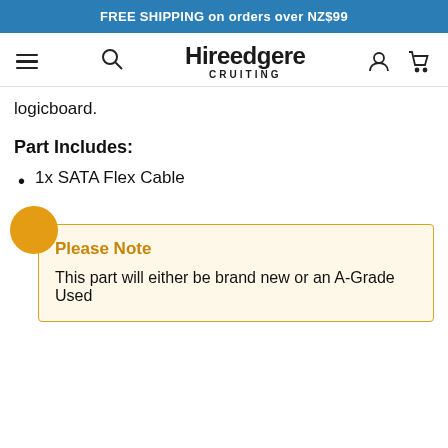FREE SHIPPING on orders over NZ$99
Hireedgere CRUITING
logicboard.
Part Includes:
1x SATA Flex Cable
Please Note
This part will either be brand new or an A-Grade Used